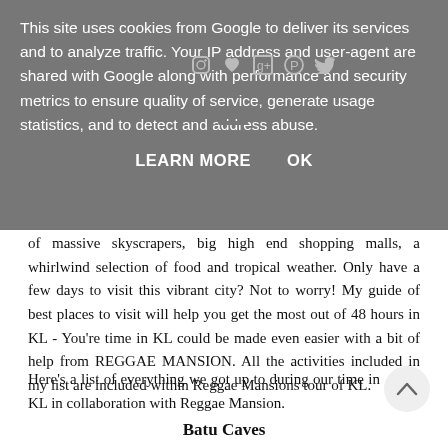This site uses cookies from Google to deliver its services and to analyze traffic. Your IP address and user-agent are shared with Google along with performance and security metrics to ensure quality of service, generate usage statistics, and to detect and address abuse.
LEARN MORE    OK
of massive skyscrapers, big high end shopping malls, a whirlwind selection of food and tropical weather. Only have a few days to visit this vibrant city? Not to worry! My guide of best places to visit will help you get the most out of 48 hours in KL - You're time in KL could be made even easier with a bit of help from REGGAE MANSION. All the activities included in my list are included within Reggae Mansions tour of KL.
Here's a list of everything we got up to during our time in KL in collaboration with Reggae Mansion.
Batu Caves